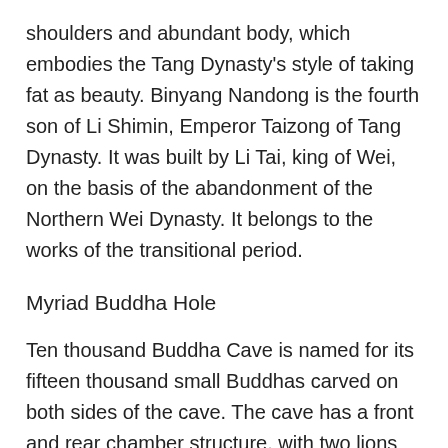shoulders and abundant body, which embodies the Tang Dynasty's style of taking fat as beauty. Binyang Nandong is the fourth son of Li Shimin, Emperor Taizong of Tang Dynasty. It was built by Li Tai, king of Wei, on the basis of the abandonment of the Northern Wei Dynasty. It belongs to the works of the transitional period.
Myriad Buddha Hole
Ten thousand Buddha Cave is named for its fifteen thousand small Buddhas carved on both sides of the cave. The cave has a front and rear chamber structure, with two lions and two Buddhas in the front and two Bodhisattvas in the back. It is the most complete cave in Longmen Grottoes. On the top of the cave is a beautiful lotus flower, surrounded by a stele inscription: "On November 30th, the first year of Yonglong in the Tang Dynasty, Yan Shu hired the engraving by Yan..."